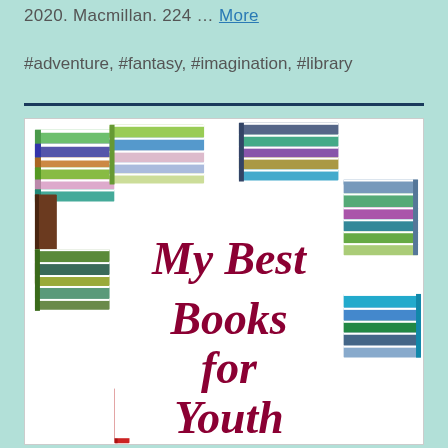2020. Macmillan. 224 … More
#adventure, #fantasy, #imagination, #library
[Figure (illustration): Illustration of colorful stacked books arranged in a border/frame pattern around a white center area, with text 'My Best Books for Youth' in large bold italic dark red font on the white center area.]